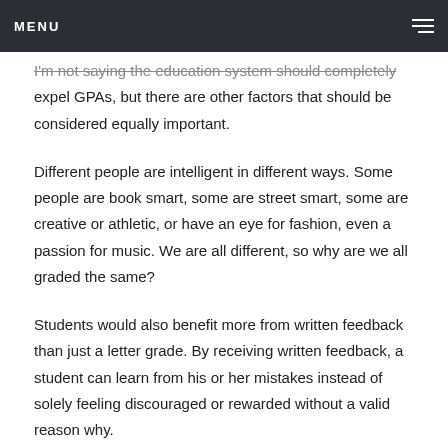MENU
I'm not saying the education system should completely expel GPAs, but there are other factors that should be considered equally important.
Different people are intelligent in different ways. Some people are book smart, some are street smart, some are creative or athletic, or have an eye for fashion, even a passion for music. We are all different, so why are we all graded the same?
Students would also benefit more from written feedback than just a letter grade. By receiving written feedback, a student can learn from his or her mistakes instead of solely feeling discouraged or rewarded without a valid reason why.